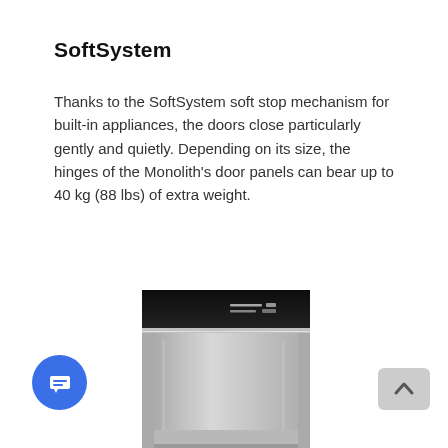SoftSystem
Thanks to the SoftSystem soft stop mechanism for built-in appliances, the doors close particularly gently and quietly. Depending on its size, the hinges of the Monolith's door panels can bear up to 40 kg (88 lbs) of extra weight.
[Figure (photo): Interior photo of a built-in refrigerator showing the black top panel with temperature display, stainless steel interior walls, and a circular air vent on the ceiling of the appliance.]